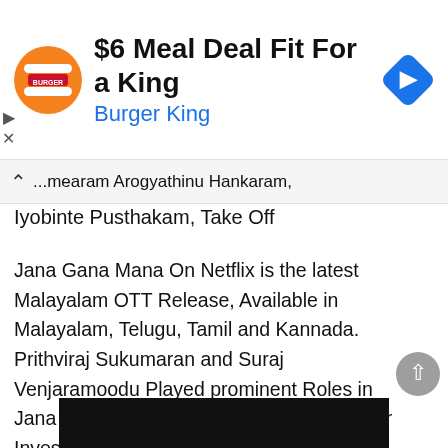[Figure (screenshot): Burger King advertisement banner with logo, text '$6 Meal Deal Fit For a King', 'Burger King' subtitle, and a blue navigation/directions diamond icon on the right.]
...mearam Arogyathinu Hankaram, Iyobinte Pusthakam, Take Off
Jana Gana Mana On Netflix is the latest Malayalam OTT Release, Available in Malayalam, Telugu, Tamil and Kannada. Prithviraj Sukumaran and Suraj Venjaramoodu Played prominent Roles in Jana Gana Mana Movie. Mammootty Starer Investigation Thriller CBI 5 OTT Release Scheduled on 12th June On Netflix.
[Figure (screenshot): Dark/black image strip at the bottom, partially visible.]